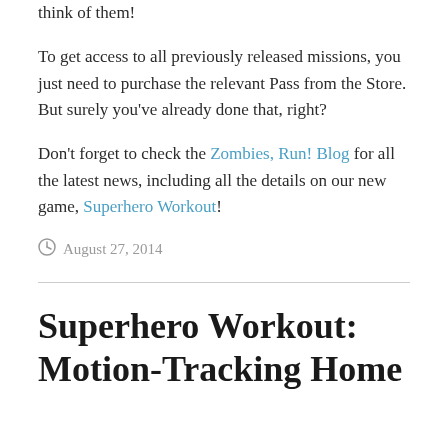…truly, no spoilers, but we're eager to hear what you think of them!
To get access to all previously released missions, you just need to purchase the relevant Pass from the Store. But surely you've already done that, right?
Don't forget to check the Zombies, Run! Blog for all the latest news, including all the details on our new game, Superhero Workout!
August 27, 2014
Superhero Workout: Motion-Tracking Home